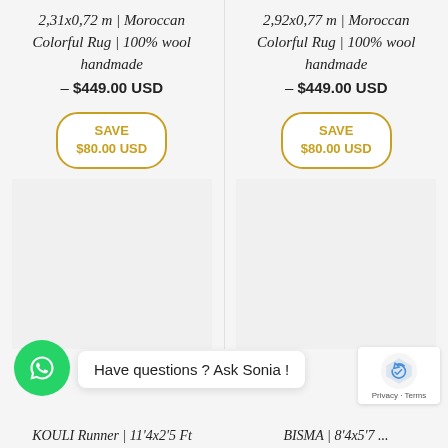2,31x0,72 m | Moroccan Colorful Rug | 100% wool handmade
– $449.00 USD
2,92x0,77 m | Moroccan Colorful Rug | 100% wool handmade
– $449.00 USD
[Figure (other): SAVE $80.00 USD badge (left column)]
[Figure (other): SAVE $80.00 USD badge (right column)]
Have questions ? Ask Sonia !
KOULI Runner | 11'4x2'5 Ft
BISMA | 8'4x5'7 ...